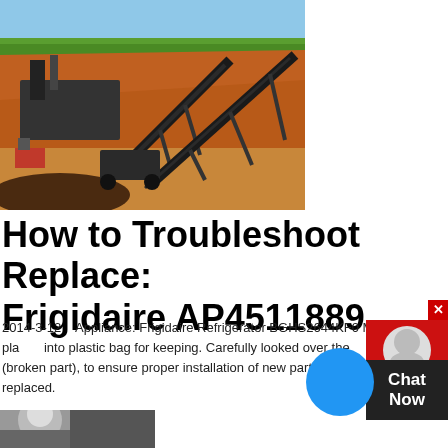[Figure (photo): Industrial mining/crushing equipment with conveyor belts on a dirt site, surrounded by green trees in background and orange soil/dirt piles in foreground]
How to Troubleshoot Replace: Frigidaire AP4511889
2014-3-12    Appliance: Frigidaire Refrigerator BGHS2644KF0 My Repair Advice. Removed ice tray assembly and placed into plastic bag for keeping. Carefully looked over the and noted the location and function of the existing (broken part), to ensure proper installation of new part. I located the screws and nuts for removal of the part to be replaced.
get price
[Figure (photo): Partial photo of a person at the bottom of the page]